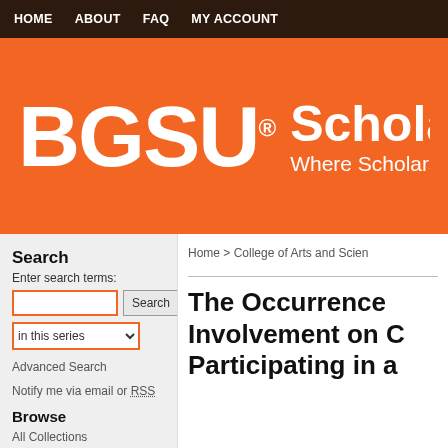HOME  ABOUT  FAQ  MY ACCOUNT
[Figure (logo): BGSU ScholarWorks banner — orange background with white BGSU logo on the left and 'ScholarWorks' / 'Where Scholarship M...' text on the right]
Home > College of Arts and Scien...
Search
Enter search terms:
in this series
Advanced Search
Notify me via email or RSS
Browse
All Collections
Disciplines
The Occurrence... Involvement on C... Participating in a...